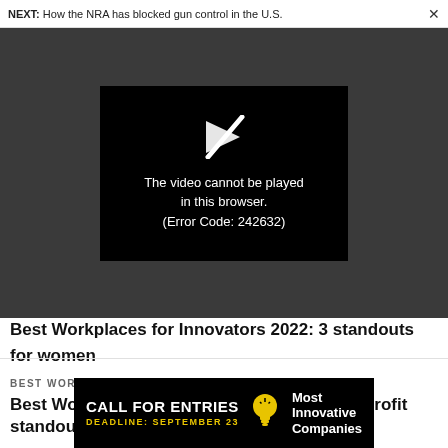NEXT: How the NRA has blocked gun control in the U.S.
[Figure (screenshot): Video player error screen showing 'The video cannot be played in this browser. (Error Code: 242632)' on a dark background]
Best Workplaces for Innovators 2022: 3 standouts for women
BEST WORKPLACES FOR INNOVATORS
Best Workplaces for Innovators 2022: 3 nonprofit standouts
[Figure (infographic): Black ad banner: CALL FOR ENTRIES, DEADLINE: SEPTEMBER 23, Most Innovative Companies]